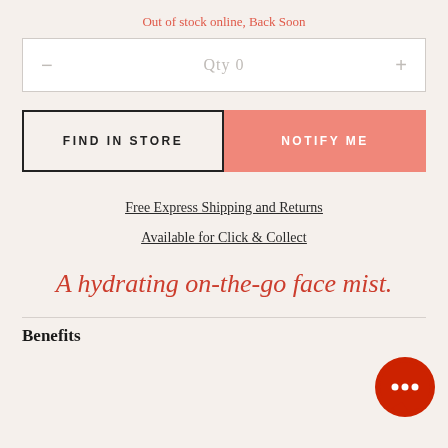Out of stock online, Back Soon
Qty 0
FIND IN STORE
NOTIFY ME
Free Express Shipping and Returns
Available for Click & Collect
A hydrating on-the-go face mist.
Benefits